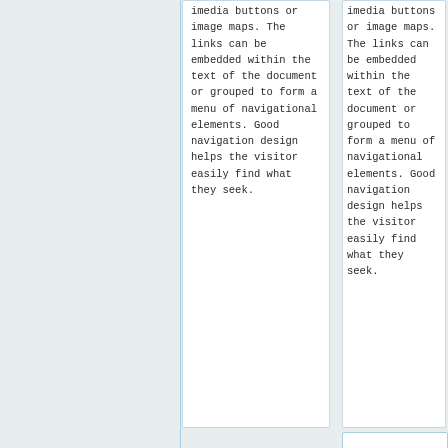imedia buttons or image maps. The links can be embedded within the text of the document or grouped to form a menu of navigational elements. Good navigation design helps the visitor easily find what they seek.
imedia buttons or image maps. The links can be embedded within the text of the document or grouped to form a menu of navigational elements. Good navigation design helps the visitor easily find what they seek.